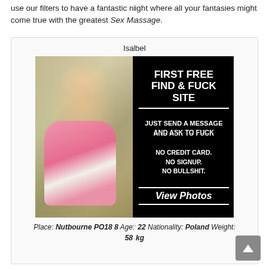use our filters to have a fantastic night where all your fantasies might come true with the greatest Sex Massage.
Isabel
[Figure (photo): Advertisement card for Isabel. Left half shows a woman with blonde hair wearing a pink and white outfit seated on a green chair. Right half is a black panel with white bold text reading: FIRST FREE FIND & FUCK SITE / JUST SEND A MESSAGE AND ASK TO FUCK / NO CREDIT CARD. NO SIGNUP. NO BULLSHIT. / View Photos]
Place: Nutbourne PO18 8 Age: 22 Nationality: Poland Weight: 58 kg